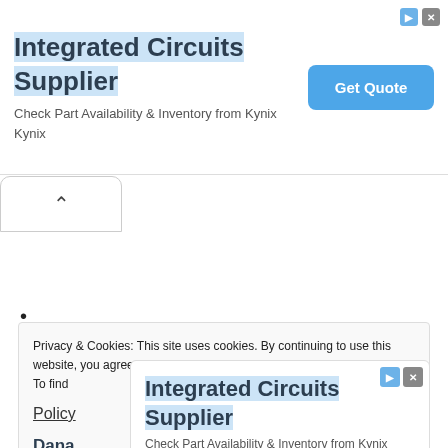[Figure (screenshot): Top banner advertisement for 'Integrated Circuits Supplier' from Kynix with a 'Get Quote' button and ad close/info icons]
[Figure (screenshot): A tab/accordion UI element with an upward chevron (^) indicating collapsible content]
•
Privacy & Cookies: This site uses cookies. By continuing to use this website, you agree to their use.
To find out more, including how to control cookies, see here: Cookie Policy
[Figure (screenshot): Overlay advertisement for 'Integrated Circuits Supplier' from Kynix with 'Get Quote' button, partially covering cookie notice. Shows ad icons (info/close).]
Dana
ccept